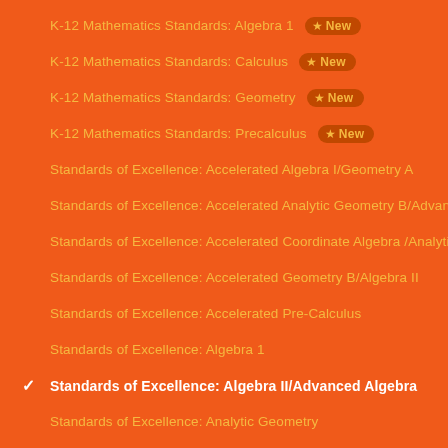K-12 Mathematics Standards: Algebra 1 [New]
K-12 Mathematics Standards: Calculus [New]
K-12 Mathematics Standards: Geometry [New]
K-12 Mathematics Standards: Precalculus [New]
Standards of Excellence: Accelerated Algebra I/Geometry A
Standards of Excellence: Accelerated Analytic Geometry B/Advan
Standards of Excellence: Accelerated Coordinate Algebra /Analyti
Standards of Excellence: Accelerated Geometry B/Algebra II
Standards of Excellence: Accelerated Pre-Calculus
Standards of Excellence: Algebra 1
Standards of Excellence: Algebra II/Advanced Algebra
Standards of Excellence: Analytic Geometry
Standards of Excellence: Calculus
Standards of Excellence: Coordinate Algebra
Standards of Excellence: Foundations of Algebra
Standards of Excellence: Geometry
Standards of Excellence: Pre-Calculus